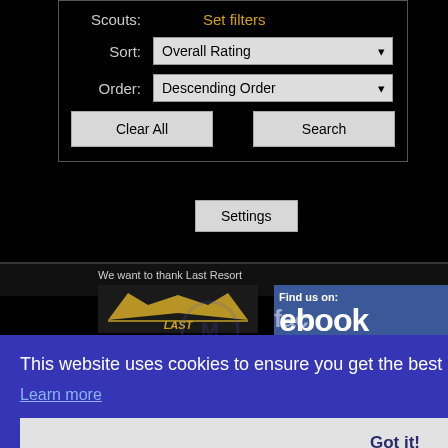[Figure (screenshot): Web UI screenshot showing a search/filter panel with Scouts label, Set filters link, Sort dropdown set to 'Overall Rating', Order dropdown set to 'Descending Order', Clear All and Search buttons, and a Settings button below. Below the panel is a dark footer bar with 'We want to thank Last Resort' text, a Last Resort logo, and a Facebook 'Find us on: facebook' panel. Overlaid on the bottom portion is a blue cookie consent banner reading 'This website uses cookies to ensure you get the best experience on our website.' with a 'Learn more' link and a 'Got it!' button.]